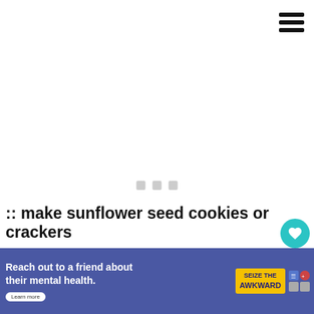[Figure (screenshot): Hamburger menu icon (three horizontal bars) in top right corner]
[Figure (screenshot): Three grey loading/placeholder squares in the center of the page]
[Figure (screenshot): Teal heart/favorite button, count '1', and share button on right side]
[Figure (screenshot): WHAT'S NEXT arrow label with circular thumbnail and 'Thematic literacy...' text]
:: make sunflower seed cookies or crackers
[Figure (screenshot): Advertisement bar: 'Reach out to a friend about their mental health. Learn more' with SEIZE THE AWKWARD badge and icons]